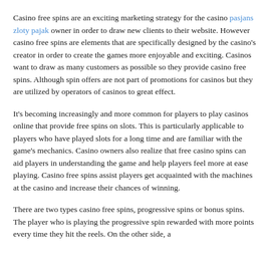Casino free spins are an exciting marketing strategy for the casino pasjans zloty pajak owner in order to draw new clients to their website. However casino free spins are elements that are specifically designed by the casino's creator in order to create the games more enjoyable and exciting. Casinos want to draw as many customers as possible so they provide casino free spins. Although spin offers are not part of promotions for casinos but they are utilized by operators of casinos to great effect.
It's becoming increasingly and more common for players to play casinos online that provide free spins on slots. This is particularly applicable to players who have played slots for a long time and are familiar with the game's mechanics. Casino owners also realize that free casino spins can aid players in understanding the game and help players feel more at ease playing. Casino free spins assist players get acquainted with the machines at the casino and increase their chances of winning.
There are two types casino free spins, progressive spins or bonus spins. The player who is playing the progressive spin rewarded with more points every time they hit the reels. On the other side, a